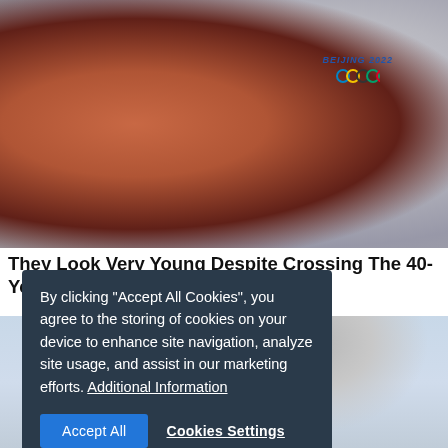[Figure (photo): Close-up photo of an older Asian person in a red jacket, with a Beijing 2022 Winter Olympics logo visible on a white structure in the background]
They Look Very Young Despite Crossing The 40-Year-Old Threshold
By clicking "Accept All Cookies", you agree to the storing of cookies on your device to enhance site navigation, analyze site usage, and assist in our marketing efforts. Additional Information
Accept All | Cookies Settings
[Figure (photo): Photo of a middle-aged woman with short dark hair and glasses, wearing a grey long-sleeve shirt, holding a dark umbrella or parasol outdoors against a light blue-grey background]